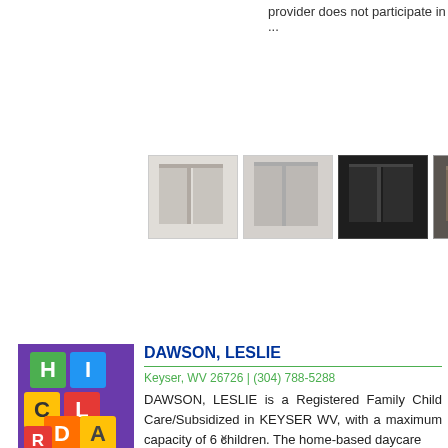provider does not participate in ...
[Figure (photo): Advertisement banner showing 6 thumbnail images of modular pod/booth office furniture in various colors (white, grey, black, dark), along with a ROOM logo in teal and grey.]
DAWSON, LESLIE
Keyser, WV 26726 | (304) 788-5288
DAWSON, LESLIE is a Registered Family Child Care/Subsidized in KEYSER WV, with a maximum capacity of 6 children. The home-based daycare ...